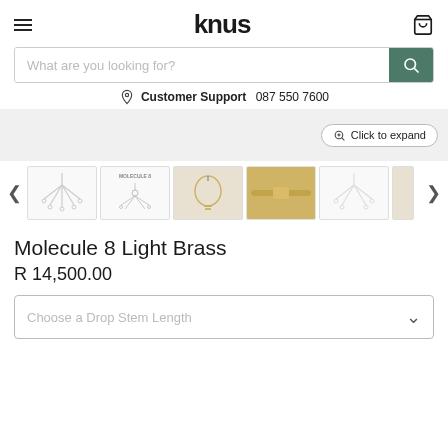knus
What are you looking for?
Customer Support 087 550 7600
Click to expand
[Figure (photo): Row of product thumbnails showing Molecule 8 Light Brass chandelier from various angles, with left and right navigation arrows]
Molecule 8 Light Brass
R 14,500.00
Choose a Drop Stem Length